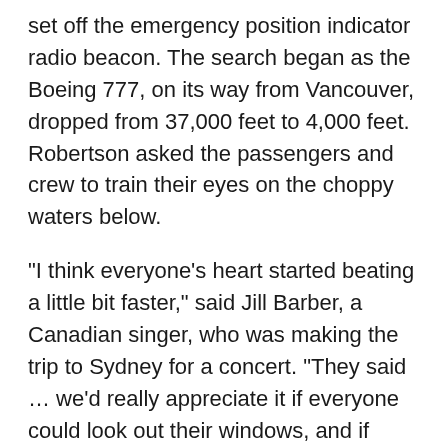set off the emergency position indicator radio beacon. The search began as the Boeing 777, on its way from Vancouver, dropped from 37,000 feet to 4,000 feet. Robertson asked the passengers and crew to train their eyes on the choppy waters below.
"I think everyone's heart started beating a little bit faster," said Jill Barber, a Canadian singer, who was making the trip to Sydney for a concert. "They said … we'd really appreciate it if everyone could look out their windows, and if anyone has any binoculars that could help us identify this yacht, that would be really helpful."
It didn't take too long to find Ey as passengers and crew scanned the waters below.
"We're doing this big sweeping right turn and almost immediately they said, 'Oh, we see something.' "